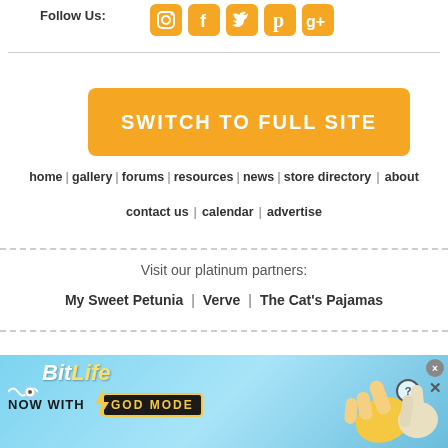Follow Us:
[Figure (infographic): Social media icons: Instagram, Facebook, Twitter, Pinterest, Google+ in orange rounded squares]
[Figure (infographic): Orange button reading SWITCH TO FULL SITE]
home | gallery | forums | resources | news | store directory | about
contact us | calendar | advertise
Visit our platinum partners:
My Sweet Petunia | Verve | The Cat's Pajamas
[Figure (infographic): BitLife NOW WITH GOD MODE advertisement banner with blue gradient background and hand pointing graphic]